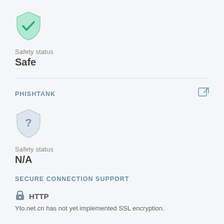[Figure (illustration): Green shield icon with a white checkmark inside]
Safety status
Safe
PHISHTANK
[Figure (illustration): Gray/blue shield icon with a question mark inside]
Safety status
N/A
SECURE CONNECTION SUPPORT
[Figure (illustration): Lock icon (padlock)]
HTTP
Yto.net.cn has not yet implemented SSL encryption.